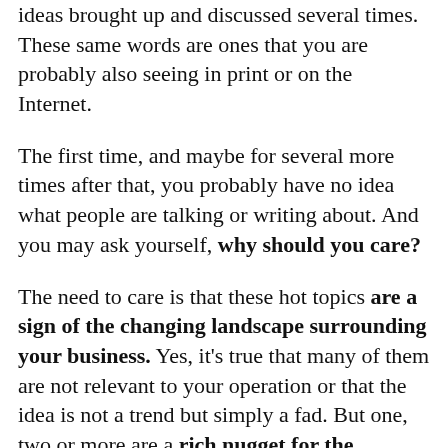ideas brought up and discussed several times. These same words are ones that you are probably also seeing in print or on the Internet.
The first time, and maybe for several more times after that, you probably have no idea what people are talking or writing about. And you may ask yourself, why should you care?
The need to care is that these hot topics are a sign of the changing landscape surrounding your business. Yes, it's true that many of them are not relevant to your operation or that the idea is not a trend but simply a fad. But one, two or more are a rich nugget for the potential development of your business.